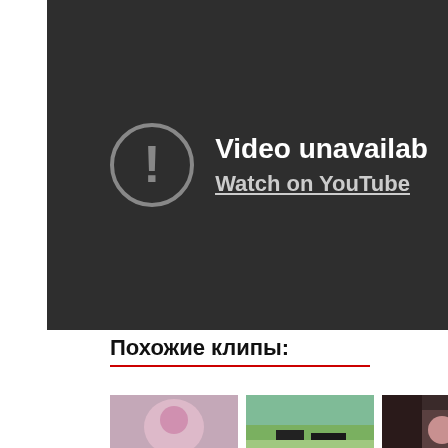[Figure (screenshot): YouTube video player showing 'Video unavailable' error message with exclamation mark in circle icon, dark background. Text reads 'Video unavailab' (cut off) and 'Watch on YouTube' (cut off).]
Похожие клипы:
[Figure (photo): Thumbnail 1: pink/purple floral background with anime-style character, text overlay 'НЕ ДО СИИ?' at bottom]
[Figure (photo): Thumbnail 2: outdoor scene with trees and black barn/shed structures]
[Figure (photo): Thumbnail 3: partial dark indoor scene with people visible]